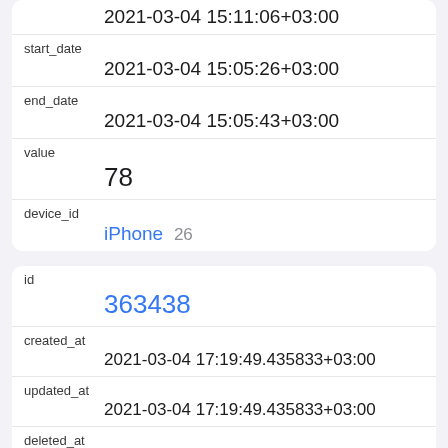|  | 2021-03-04 15:11:06+03:00 |
| start_date | 2021-03-04 15:05:26+03:00 |
| end_date | 2021-03-04 15:05:43+03:00 |
| value | 78 |
| device_id | iPhone 26 |
| id | 363438 |
| created_at | 2021-03-04 17:19:49.435833+03:00 |
| updated_at | 2021-03-04 17:19:49.435833+03:00 |
| deleted_at |  |
| type | HKQuantityTypeIdentifierWalkingStepLength |